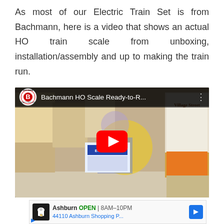As most of our Electric Train Set is from Bachmann, here is a video that shows an actual HO train scale from unboxing, installation/assembly and up to making the train run.
[Figure (screenshot): Embedded YouTube video thumbnail showing a man in a blue polo shirt behind a counter with an E-Z Command box, surrounded by train set boxes including 'Village Street' in the background. The Bachmann logo and video title 'Bachmann HO Scale Ready-to-R...' appear in the top bar with a red YouTube play button overlay.]
[Figure (screenshot): Google ad showing a chef icon, 'Ashburn OPEN 8AM-10PM' and '44110 Ashburn Shopping P...' with a blue navigation arrow icon, plus small play/close ad icons below.]